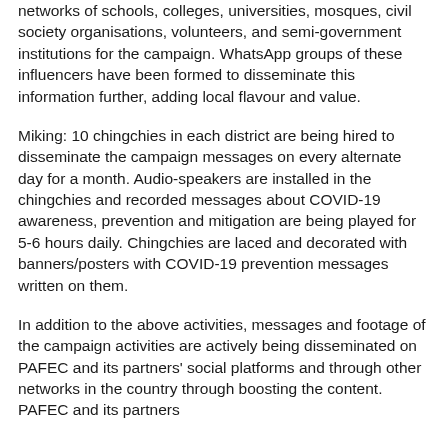networks of schools, colleges, universities, mosques, civil society organisations, volunteers, and semi-government institutions for the campaign. WhatsApp groups of these influencers have been formed to disseminate this information further, adding local flavour and value.
Miking: 10 chingchies in each district are being hired to disseminate the campaign messages on every alternate day for a month. Audio-speakers are installed in the chingchies and recorded messages about COVID-19 awareness, prevention and mitigation are being played for 5-6 hours daily. Chingchies are laced and decorated with banners/posters with COVID-19 prevention messages written on them.
In addition to the above activities, messages and footage of the campaign activities are actively being disseminated on PAFEC and its partners' social platforms and through other networks in the country through boosting the content. PAFEC and its partners